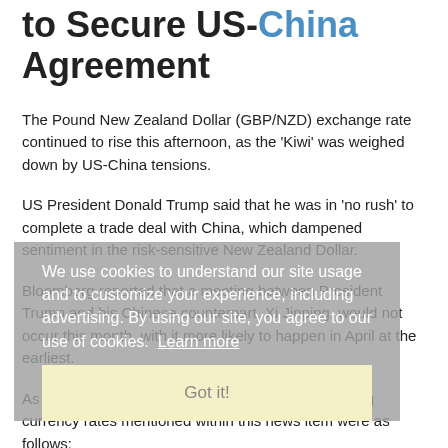to Secure US-China Agreement
The Pound New Zealand Dollar (GBP/NZD) exchange rate continued to rise this afternoon, as the 'Kiwi' was weighed down by US-China tensions.
US President Donald Trump said that he was in 'no rush' to complete a trade deal with China, which dampened sentiment in the risk-sensitive New Zealand Dollar.
Bloomberg reported that a meeting between President Trump and his Chinese counterpart, Xi Jinping, would not occur this month, with it more likely to happen in April at the earliest.
We use cookies to understand our site usage and to customize your experience, including advertising. By using our site, you agree to our use of cookies.  Learn more
Got it!
As of Thursday, 14th March 2019, the Pound Sterling currency rates mentioned within this news item were as follows: